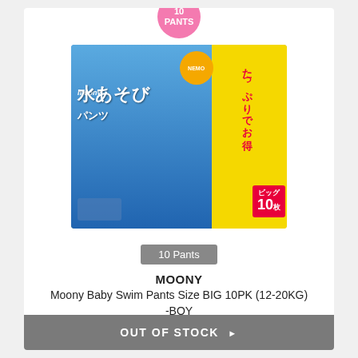[Figure (photo): Product image of Moony Baby Swim Pants package (blue and yellow packaging with Japanese text, Nemo character, showing a baby and child, Big 10 count)]
10 Pants
MOONY
Moony Baby Swim Pants Size BIG 10PK (12-20KG) -BOY
$20.50 $25.00
OUT OF STOCK ▶